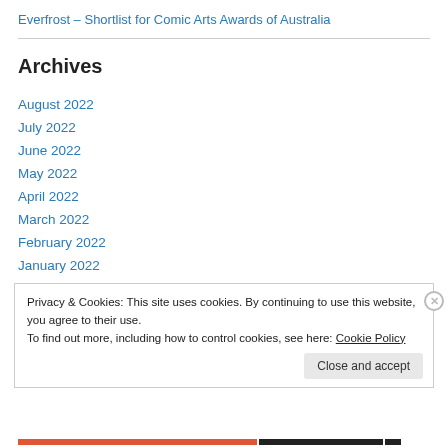Everfrost – Shortlist for Comic Arts Awards of Australia
Archives
August 2022
July 2022
June 2022
May 2022
April 2022
March 2022
February 2022
January 2022
Privacy & Cookies: This site uses cookies. By continuing to use this website, you agree to their use.
To find out more, including how to control cookies, see here: Cookie Policy